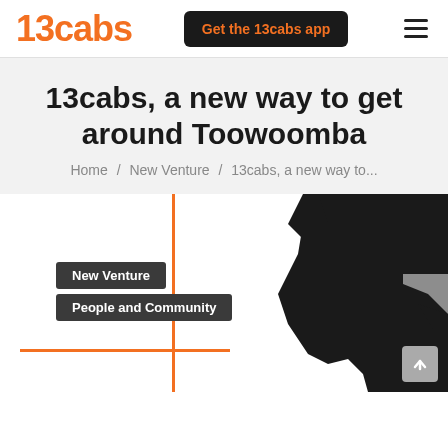13cabs | Get the 13cabs app
13cabs, a new way to get around Toowoomba
Home / New Venture / 13cabs, a new way to...
[Figure (other): Orange cross/plus graphic lines with two dark badges labeled 'New Venture' and 'People and Community', alongside a black silhouette map of Australia region]
New Venture
People and Community